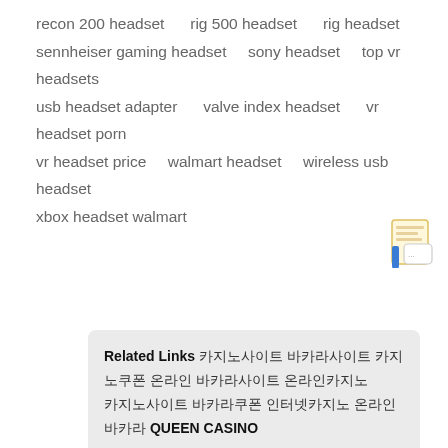recon 200 headset    rig 500 headset    rig headset
sennheiser gaming headset    sony headset    top vr headsets
usb headset adapter    valve index headset    vr headset porn
vr headset price    walmart headset    wireless usb headset
xbox headset walmart
Related Links  [Korean text]  QUEEN CASINO
[Korean text]
[Korean characters]